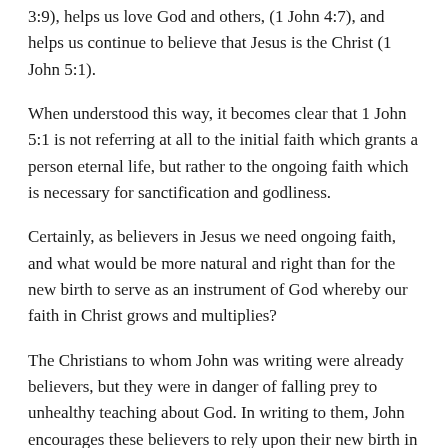3:9), helps us love God and others, (1 John 4:7), and helps us continue to believe that Jesus is the Christ (1 John 5:1).
When understood this way, it becomes clear that 1 John 5:1 is not referring at all to the initial faith which grants a person eternal life, but rather to the ongoing faith which is necessary for sanctification and godliness.
Certainly, as believers in Jesus we need ongoing faith, and what would be more natural and right than for the new birth to serve as an instrument of God whereby our faith in Christ grows and multiplies?
The Christians to whom John was writing were already believers, but they were in danger of falling prey to unhealthy teaching about God. In writing to them, John encourages these believers to rely upon their new birth in God for teaching, instruction about righteousness, abiding in faithfulness, and remembering that Jesus is the Christ, and that by Him, they have life in His name.